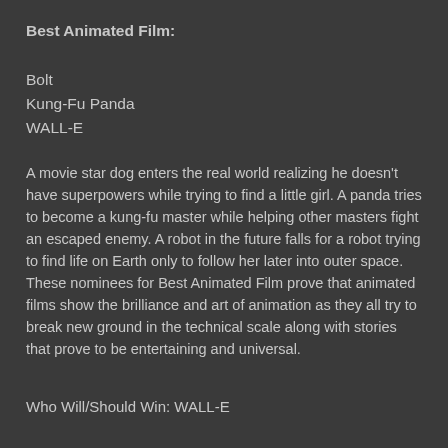Best Animated Film:
Bolt
Kung-Fu Panda
WALL-E
A movie star dog enters the real world realizing he doesn’t have superpowers while trying to find a little girl. A panda tries to become a kung-fu master while helping other masters fight an escaped enemy. A robot in the future falls for a robot trying to find life on Earth only to follow her later into outer space. These nominees for Best Animated Film prove that animated films show the brilliance and art of animation as they all try to break new ground in the technical scale along with stories that prove to be entertaining and universal.
Who Will/Should Win: WALL-E